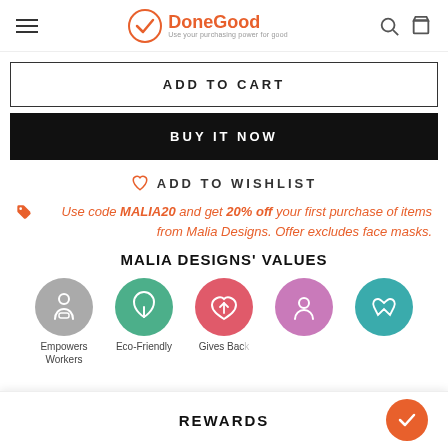DoneGood — Use your purchasing power for good
ADD TO CART
BUY IT NOW
ADD TO WISHLIST
Use code MALIA20 and get 20% off your first purchase of items from Malia Designs. Offer excludes face masks.
MALIA DESIGNS' VALUES
[Figure (infographic): Five circular icons representing Malia Designs values: Empowers Workers (grey), Eco-Friendly (green), Gives Back (red/pink), a purple icon (partially visible), and a teal recycling icon (partially visible). A rewards bar at the bottom shows 'REWARDS' text with an orange circular button containing a checkmark.]